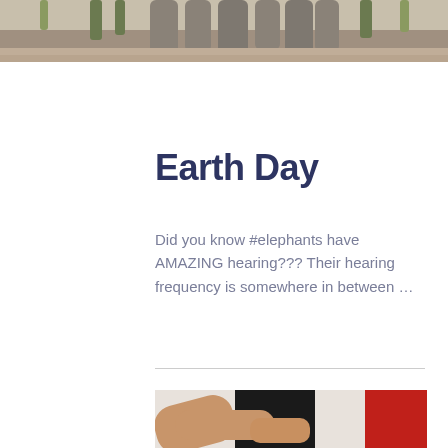[Figure (photo): Top portion of a photo showing elephants outdoors, partial view of elephant legs and body]
Earth Day
Did you know #elephants have AMAZING hearing??? Their hearing frequency is somewhere in between …
[Figure (photo): Bottom photo showing people holding hands, one person wearing dark pants and another wearing red, with beige/tan arms visible]